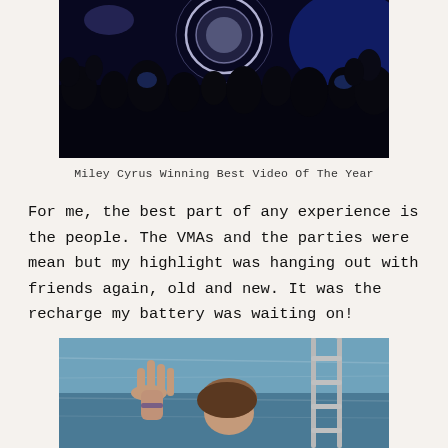[Figure (photo): Concert photo showing a large crowd from behind watching a performer on stage, with a glowing circular logo (VMA-style) visible in the background and blue stage lighting. Dark, nighttime atmosphere.]
Miley Cyrus Winning Best Video Of The Year
For me, the best part of any experience is the people. The VMAs and the parties were mean but my highlight was hanging out with friends again, old and new. It was the recharge my battery was waiting on!
[Figure (photo): Photo of people in a swimming pool or open water, with a person's hand raised, another person visible, and a metal ladder/railing visible on the right side. The water is a medium-blue color.]